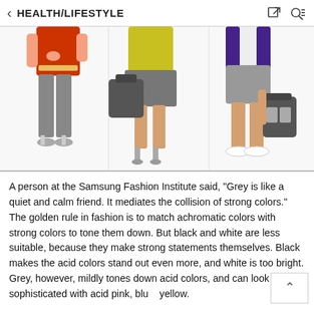HEALTH/LIFESTYLE
[Figure (photo): Three fashion models shown from waist down: left figure in red dress and grey leggings with heels, center figure in yellow jacket and grey skirt carrying a dark bag with heels, right figure in grey shorts and white sneakers carrying a dark bag.]
A person at the Samsung Fashion Institute said, "Grey is like a quiet and calm friend. It mediates the collision of strong colors." The golden rule in fashion is to match achromatic colors with strong colors to tone them down. But black and white are less suitable, because they make strong statements themselves. Black makes the acid colors stand out even more, and white is too bright. Grey, however, mildly tones down acid colors, and can look sophisticated with acid pink, blue, yellow.